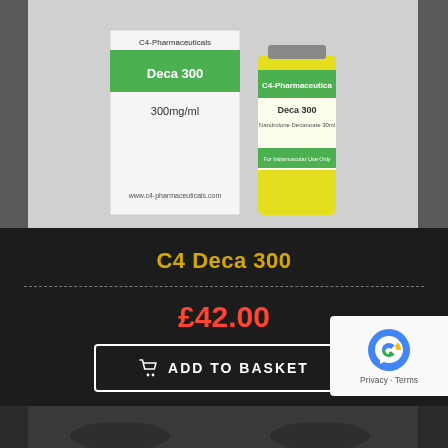[Figure (photo): Product photo showing two pharmaceutical vials of C4 Deca 300 (Nandrolone Decanoate 300mg/ml) by C4-Pharmaceuticals, one showing the box label and one the glass vial with yellow liquid, on a grey background. Label text includes: C4-Pharmaceuticals, Deca 300, 300mg/ml, Nandrolone Decanoate 300ml, For Intramuscular Use Only, www.c4-pharmaceuticals.com]
C4 Deca 300
£42.00
ADD TO BASKET
[Figure (other): reCAPTCHA badge showing the reCAPTCHA logo and Privacy - Terms text]
[Figure (photo): Bottom partial image strip showing gym equipment in dark background]